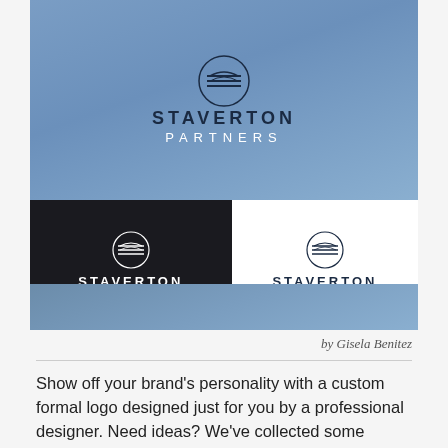[Figure (logo): Staverton Partners logo shown in three color variations: large blue background version at top, dark/black background version at bottom-left, and white background version at bottom-right. Each has a circular emblem with horizontal lines and the text STAVERTON PARTNERS.]
by Gisela Benitez
Show off your brand's personality with a custom formal logo designed just for you by a professional designer. Need ideas? We've collected some